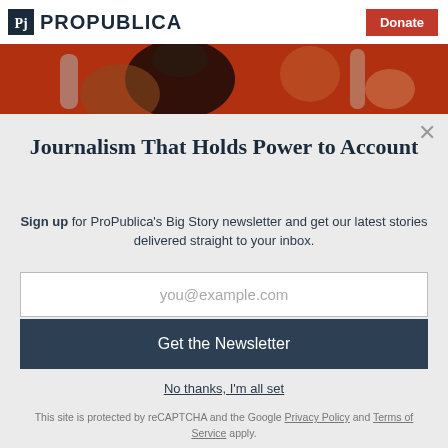ProPublica | Donate
[Figure (photo): Cropped photo with red/warm background showing musicians, partially visible]
Journalism That Holds Power to Account
Sign up for ProPublica's Big Story newsletter and get our latest stories delivered straight to your inbox.
you@example.com
Get the Newsletter
No thanks, I'm all set
This site is protected by reCAPTCHA and the Google Privacy Policy and Terms of Service apply.